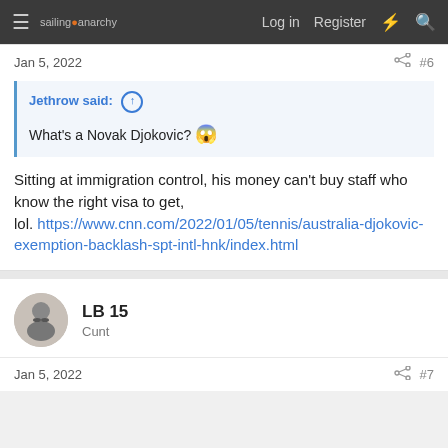sailing-anarchy | Log in | Register
Jan 5, 2022 | #6
Jethrow said: ↑
What's a Novak Djokovic? 😛
Sitting at immigration control, his money can't buy staff who know the right visa to get, lol. https://www.cnn.com/2022/01/05/tennis/australia-djokovic-exemption-backlash-spt-intl-hnk/index.html
LB 15
Cunt
Jan 5, 2022 | #7